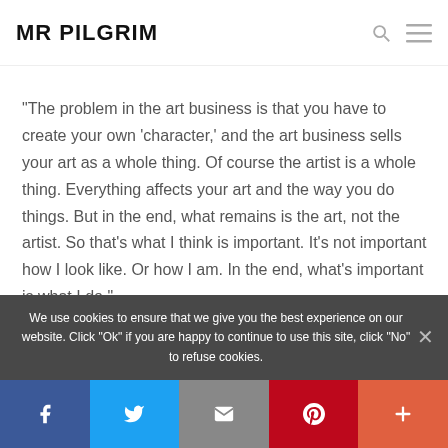MR PILGRIM
“The problem in the art business is that you have to create your own ‘character,’ and the art business sells your art as a whole thing. Of course the artist is a whole thing. Everything affects your art and the way you do things. But in the end, what remains is the art, not the artist. So that’s what I think is important. It’s not important how I look like. Or how I am. In the end, what’s important is what I do.”
We use cookies to ensure that we give you the best experience on our website. Click "Ok" if you are happy to continue to use this site, click "No" to refuse cookies.